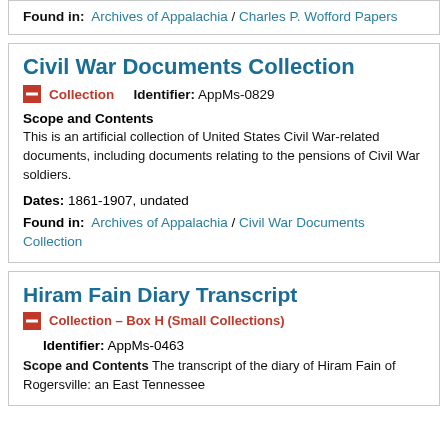Found in: Archives of Appalachia / Charles P. Wofford Papers
Civil War Documents Collection
Collection   Identifier: AppMs-0829
Scope and Contents
This is an artificial collection of United States Civil War-related documents, including documents relating to the pensions of Civil War soldiers.
Dates: 1861-1907, undated
Found in: Archives of Appalachia / Civil War Documents Collection
Hiram Fain Diary Transcript
Collection – Box H (Small Collections)
Identifier: AppMs-0463
Scope and Contents The transcript of the diary of Hiram Fain of Rogersville: an East Tennessee